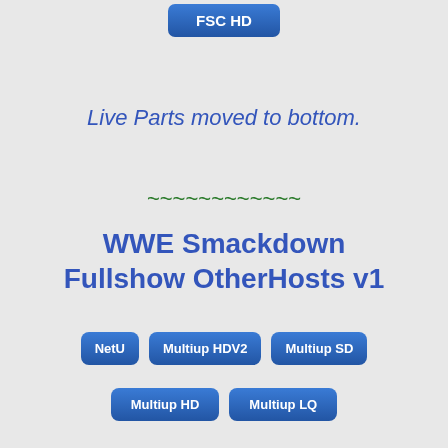[Figure (other): FSC HD button - blue rounded button at top center]
Live Parts moved to bottom.
~~~~~~~~~~~~
WWE Smackdown Fullshow OtherHosts v1
[Figure (other): Row of buttons: NetU, Multiup HDV2, Multiup SD]
[Figure (other): Row of buttons: Multiup HD, Multiup LQ]
~~~~~~~~~~~~
[Figure (other): Purple button partially visible at bottom]